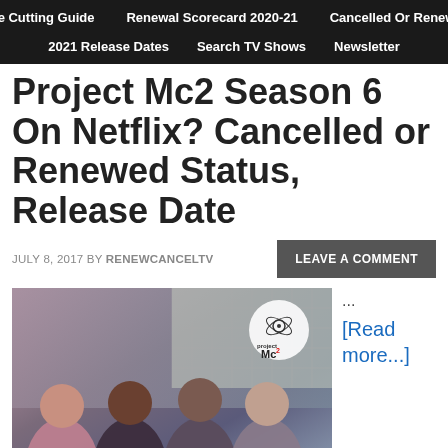Cable Cutting Guide | Renewal Scorecard 2020-21 | Cancelled Or Renewed? | 2021 Release Dates | Search TV Shows | Newsletter
Project Mc2 Season 6 On Netflix? Cancelled or Renewed Status, Release Date
JULY 8, 2017 BY RENEWCANCELTV
LEAVE A COMMENT
[Figure (photo): Group photo of four teenage girls posing together with the Project Mc2 logo visible in the upper right corner]
... [Read more...]